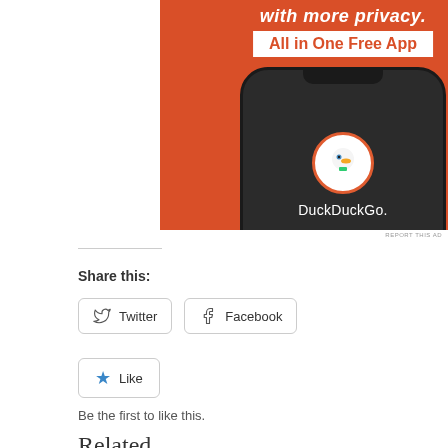[Figure (illustration): DuckDuckGo advertisement showing a smartphone with the DuckDuckGo logo and text 'All in One Free App' on an orange background]
REPORT THIS AD
Share this:
Twitter
Facebook
Like
Be the first to like this.
Related